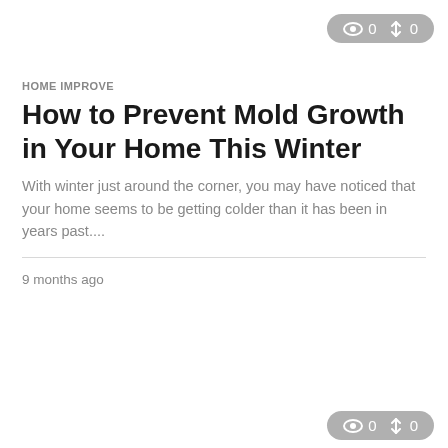[Figure (other): Badge with eye icon showing '0' views and share icon showing '0' shares, grey rounded pill shape, top right corner]
HOME IMPROVE
How to Prevent Mold Growth in Your Home This Winter
With winter just around the corner, you may have noticed that your home seems to be getting colder than it has been in years past....
9 months ago
[Figure (other): Badge with eye icon showing '0' views and share icon showing '0' shares, grey rounded pill shape, bottom right corner (partially visible)]